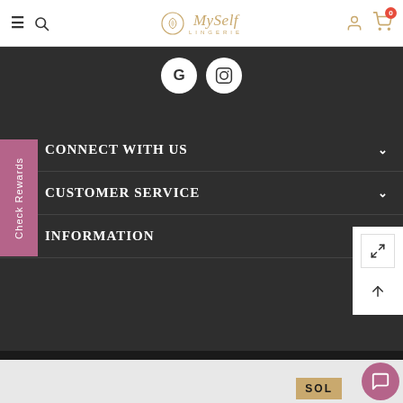MySelf Lingerie — navigation header with hamburger menu, search, logo, user icon, and cart (0)
[Figure (screenshot): Social media icons: Google (G) and Instagram in white circles on dark background]
CONNECT WITH US
CUSTOMER SERVICE
INFORMATION
Check Rewards
© 2021 MySelf Lingerie, All Rights Reserved. Website by My Custom Software
SOLD